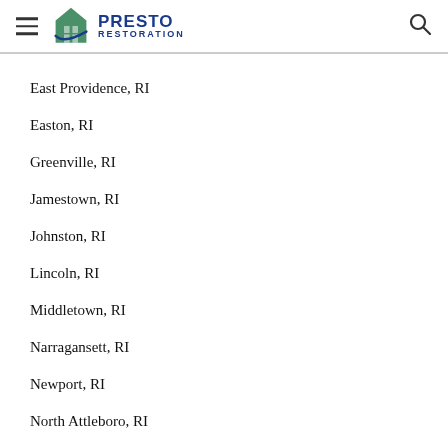Presto Restoration
East Providence, RI
Easton, RI
Greenville, RI
Jamestown, RI
Johnston, RI
Lincoln, RI
Middletown, RI
Narragansett, RI
Newport, RI
North Attleboro, RI
North Kingstown, RI
North Providence, RI